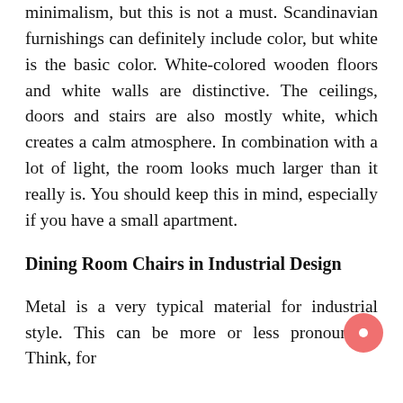minimalism, but this is not a must. Scandinavian furnishings can definitely include color, but white is the basic color. White-colored wooden floors and white walls are distinctive. The ceilings, doors and stairs are also mostly white, which creates a calm atmosphere. In combination with a lot of light, the room looks much larger than it really is. You should keep this in mind, especially if you have a small apartment.
Dining Room Chairs in Industrial Design
Metal is a very typical material for industrial style. This can be more or less pronounced. Think, for